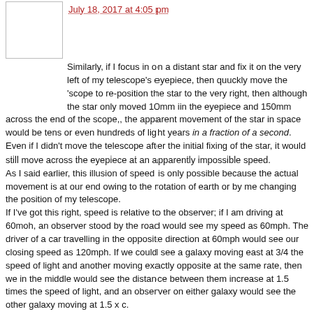July 18, 2017 at 4:05 pm
Similarly, if I focus in on a distant star and fix it on the very left of my telescope's eyepiece, then quuckly move the 'scope to re-position the star to the very right, then although the star only moved 10mm iin the eyepiece and 150mm across the end of the scope,, the apparent movement of the star in space would be tens or even hundreds of light years in a fraction of a second. Even if I didn't move the telescope after the initial fixing of the star, it would still move across the eyepiece at an apparently impossible speed.
As I said earlier, this illusion of speed is only possible because the actual movement is at our end owing to the rotation of earth or by me changing the position of my telescope.
If I've got this right, speed is relative to the observer; if I am driving at 60moh, an observer stood by the road would see my speed as 60mph. The driver of a car travelling in the opposite direction at 60mph would see our closing speed as 120mph. If we could see a galaxy moving east at 3/4 the speed of light and another moving exactly opposite at the same rate, then we in the middle would see the distance between them increase at 1.5 times the speed of light, and an observer on either galaxy would see the other galaxy moving at 1.5 x c.
'S'all relative, innit!
Acolyte of Sagan says:
July 18, 2017 at 5:07 pm
Another example of relative speed; if I were driving at 60mph and was overtaken by a car travelling at 80mph, the driver of the other car would see herself moving at 80mph, but relative to my 60mph, I would see her moving away at only 20mph.
The